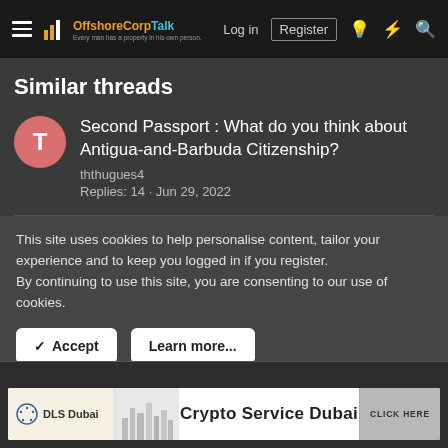OffshoreCorpTalk — Log in | Register
Similar threads
Second Passport : What do you think about Antigua-and-Barbuda Citizenship?
ththugues4
Replies: 14 · Jun 29, 2022
This site uses cookies to help personalise content, tailor your experience and to keep you logged in if you register.
By continuing to use this site, you are consenting to our use of cookies.
✓ Accept    Learn more...
[Figure (screenshot): Crypto Service Dubai advertisement banner with DLS Dubai logo and CLICK HERE button]